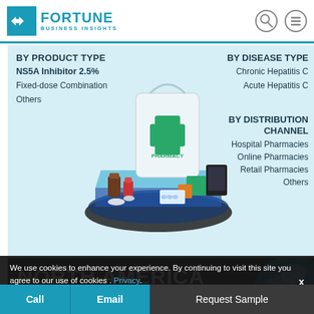Fortune Business Insights
[Figure (infographic): Market segmentation infographic for pharmacy/hepatitis C market showing BY PRODUCT TYPE (NS5A Inhibitor 2.5%, Fixed-dose Combination, Others), BY DISEASE TYPE (Chronic Hepatitis C, Acute Hepatitis C), BY DISTRIBUTION CHANNEL (Hospital Pharmacies, Online Pharmacies, Retail Pharmacies, Others), with a 3D pharmacy illustration in the center]
NORTH AMERICA
We use cookies to enhance your experience. By continuing to visit this site you agree to our use of cookies . Privacy.
Call | Email | Request Sample